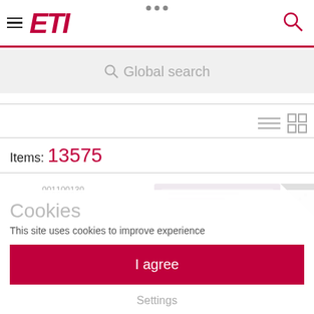[Figure (screenshot): ETI website screenshot showing navigation header with hamburger menu, ETI logo in magenta italic, search icon, three dots at top center]
Global search
Items: 13575
001100130
Cookies
This site uses cookies to improve experience
I agree
Settings